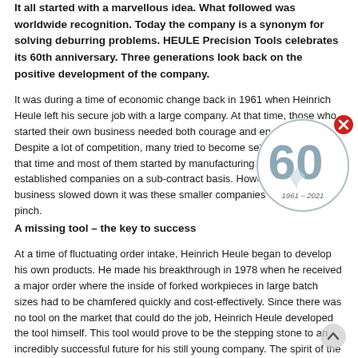It all started with a marvellous idea. What followed was worldwide recognition. Today the company is a synonym for solving deburring problems. HEULE Precision Tools celebrates its 60th anniversary. Three generations look back on the positive development of the company.
It was during a time of economic change back in 1961 when Heinrich Heule left his secure job with a large company. At that time, those who started their own business needed both courage and endurance. Despite a lot of competition, many tried to become self-employed at that time and most of them started by manufacturing parts for already established companies on a sub-contract basis. However, when business slowed down it was these smaller companies that felt the pinch.
[Figure (logo): HEULE Precision Tools 60th anniversary logo, circular design with '60' in large grey numerals and '1961 – 2021' text below, with diamond/crystal graphic element, on white circular background]
A missing tool – the key to success
At a time of fluctuating order intake, Heinrich Heule began to develop his own products. He made his breakthrough in 1978 when he received a major order where the inside of forked workpieces in large batch sizes had to be chamfered quickly and cost-effectively. Since there was no tool on the market that could do the job, Heinrich Heule developed the tool himself. This tool would prove to be the stepping stone to an incredibly successful future for his still young company. The spirit of the engineer had been woken. Heinrich Heule continued to develop his special tool, but